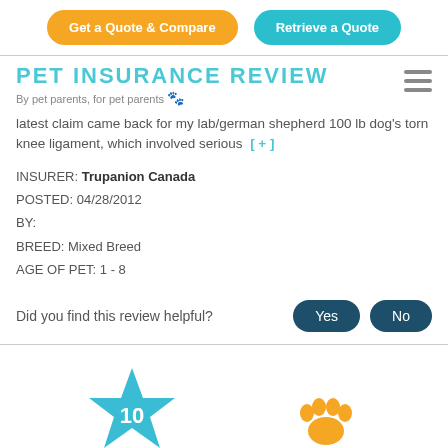[Figure (screenshot): Top navigation bar with two buttons: 'Get a Quote & Compare' (orange) and 'Retrieve a Quote' (teal)]
PET INSURANCE REVIEW
By pet parents, for pet parents 🐾
latest claim came back for my lab/german shepherd 100 lb dog's torn knee ligament, which involved serious  [+]
INSURER: Trupanion Canada
POSTED: 04/28/2012
BY:
BREED: Mixed Breed
AGE OF PET: 1 - 8
Did you find this review helpful?
[Figure (infographic): Blue star rating graphic showing '10 out of 10' with a star shape containing the number 10, and an orange paw print icon to the right]